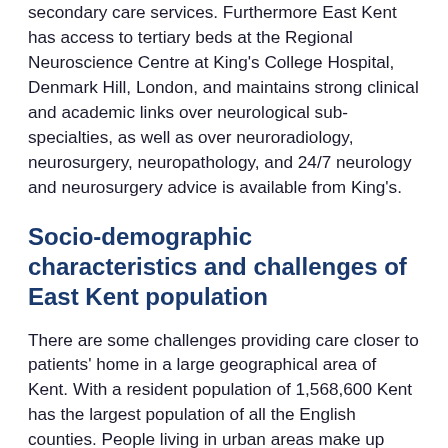secondary care services. Furthermore East Kent has access to tertiary beds at the Regional Neuroscience Centre at King's College Hospital, Denmark Hill, London, and maintains strong clinical and academic links over neurological sub-specialties, as well as over neuroradiology, neurosurgery, neuropathology, and 24/7 neurology and neurosurgery advice is available from King's.
Socio-demographic characteristics and challenges of East Kent population
There are some challenges providing care closer to patients' home in a large geographical area of Kent. With a resident population of 1,568,600 Kent has the largest population of all the English counties. People living in urban areas make up 74% of the Kent population but they only occupy 23% of the total land area, therefore